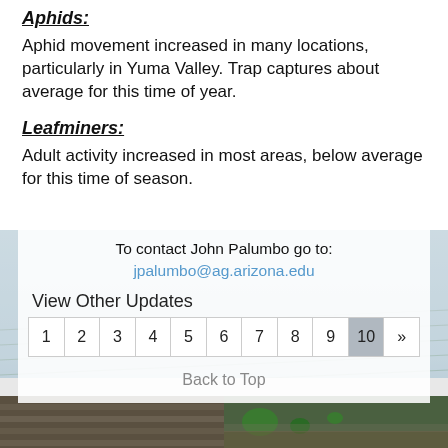Aphids:
Aphid movement increased in many locations, particularly in Yuma Valley. Trap captures about average for this time of year.
Leafminers:
Adult activity increased in most areas, below average for this time of season.
To contact John Palumbo go to:
jpalumbo@ag.arizona.edu
View Other Updates
1  2  3  4  5  6  7  8  9  10  »
Back to Top